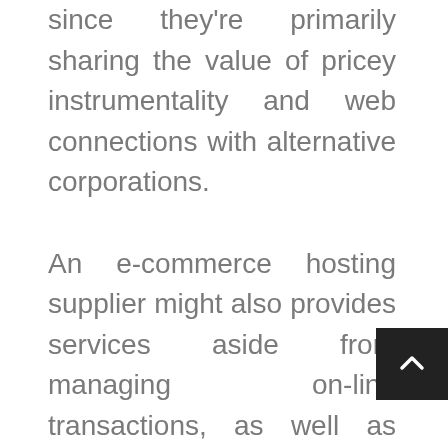since they're primarily sharing the value of pricey instrumentality and web connections with alternative corporations.

An e-commerce hosting supplier might also provides services aside from managing on-line transactions, as well as EDI, the gathering of demographic or alternative info (usually for promoting purposes), or transactions between businesses